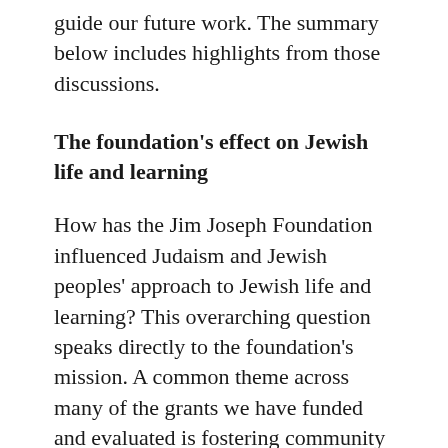guide our future work. The summary below includes highlights from those discussions.
The foundation's effect on Jewish life and learning
How has the Jim Joseph Foundation influenced Judaism and Jewish peoples' approach to Jewish life and learning? This overarching question speaks directly to the foundation's mission. A common theme across many of the grants we have funded and evaluated is fostering community and positive relationships within the Jewish community. With few exceptions,